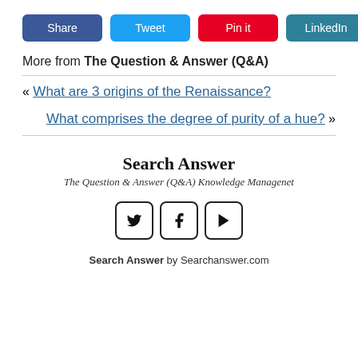[Figure (infographic): Social sharing buttons: Share (blue), Tweet (light blue), Pin it (red), LinkedIn (teal)]
More from The Question & Answer (Q&A)
« What are 3 origins of the Renaissance?
What comprises the degree of purity of a hue? »
Search Answer
The Question & Answer (Q&A) Knowledge Managenet
[Figure (infographic): Social media icon buttons: Twitter (bird), Facebook (f), YouTube (play)]
Search Answer by Searchanswer.com